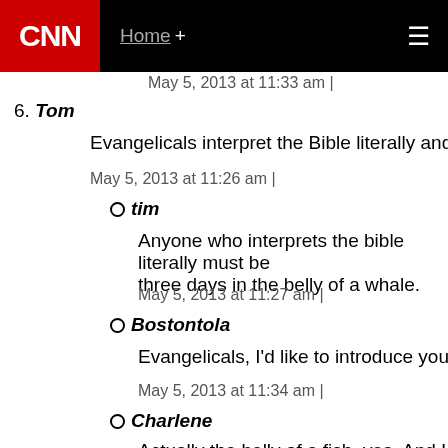CNN Home +
May 5, 2013 at 11:33 am |
6. Tom
Evangelicals interpret the Bible literally and ignore sci
May 5, 2013 at 11:26 am |
tim
Anyone who interprets the bible literally must be three days in the belly of a whale.
May 5, 2013 at 11:27 am |
Bostontola
Evangelicals, I'd like to introduce you to Matthew
May 5, 2013 at 11:34 am |
Charlene
Actually the belly of a fish, yes. And I believe in t Jesus, who is God. My savior and my Lord.